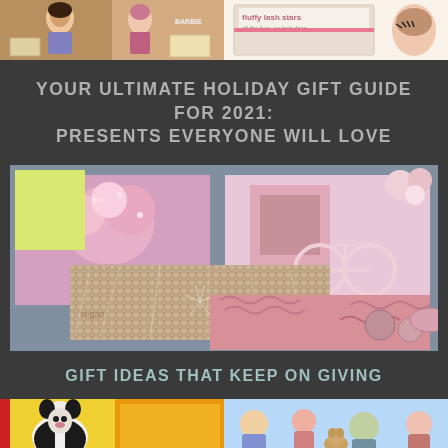[Figure (photo): Top strip of two photos: left shows toy/doll products, right shows beauty/lash product packaging with text 'fluffy lash stars']
YOUR ULTIMATE HOLIDAY GIFT GUIDE FOR 2021: PRESENTS EVERYONE WILL LOVE
[Figure (photo): Main central photo showing a glittery gift box with pink shredded paper filler, yellow box, cherry blossom canvas prints, and pink bicycle artwork in background]
GIFT IDEAS THAT KEEP ON GIVING
[Figure (photo): Bottom strip of two photos: left shows colorful illustrated animal characters on yellow/orange background with red left border, right shows illustrated characters on light blue background]